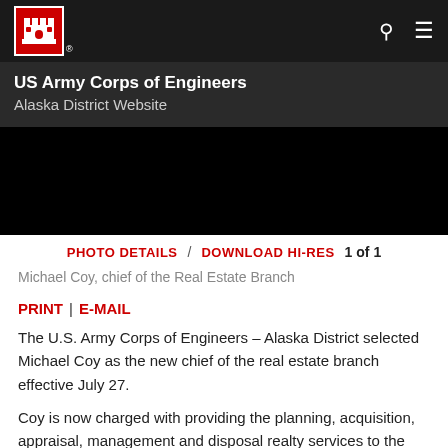US Army Corps of Engineers Alaska District Website
[Figure (photo): Black photo area for Michael Coy, chief of the Real Estate Branch]
PHOTO DETAILS / DOWNLOAD HI-RES 1 of 1
Michael Coy, chief of the Real Estate Branch
PRINT | E-MAIL
The U.S. Army Corps of Engineers – Alaska District selected Michael Coy as the new chief of the real estate branch effective July 27.
Coy is now charged with providing the planning, acquisition, appraisal, management and disposal realty services to the